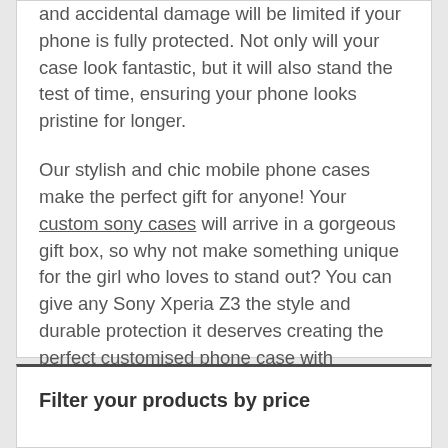and accidental damage will be limited if your phone is fully protected. Not only will your case look fantastic, but it will also stand the test of time, ensuring your phone looks pristine for longer.
Our stylish and chic mobile phone cases make the perfect gift for anyone! Your custom sony cases will arrive in a gorgeous gift box, so why not make something unique for the girl who loves to stand out? You can give any Sony Xperia Z3 the style and durable protection it deserves creating the perfect customised phone case with Mobilinnov – after all, an Sony Xperia Z3 is a girl's best friend!
Filter your products by price